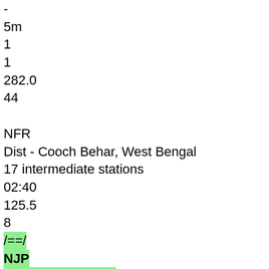-
5m
1
1
282.0
44
NFR
Dist - Cooch Behar, West Bengal
17 intermediate stations
02:40
125.5
8
/==/
NJP
New Jalpaiguri Jn
X
¶
18:10
-
18:20
-
10m
3,5
1
407.5